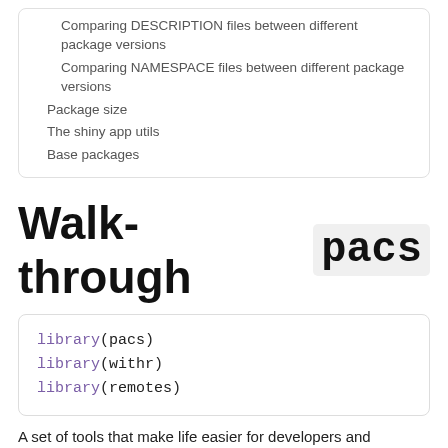Comparing DESCRIPTION files between different package versions
Comparing NAMESPACE files between different package versions
Package size
The shiny app utils
Base packages
Walk-through pacs
library(pacs)
library(withr)
library(remotes)
A set of tools that make life easier for developers and maintainers of R packages.
Validating the library, packages and renv lock files.
Exploring complexity of a certain package like